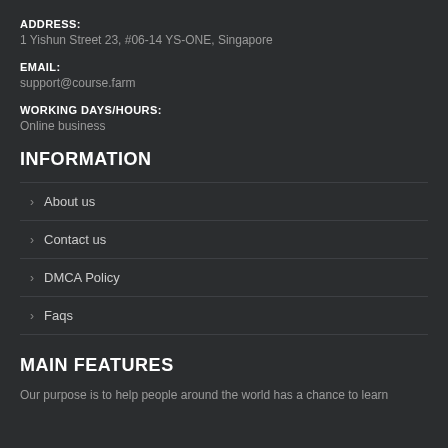ADDRESS:
1 Yishun Street 23, #06-14 YS-ONE, Singapore
EMAIL:
support@course.farm
WORKING DAYS/HOURS:
Online business
INFORMATION
About us
Contact us
DMCA Policy
Faqs
MAIN FEATURES
Our purpose is to help people around the world has a chance to learn